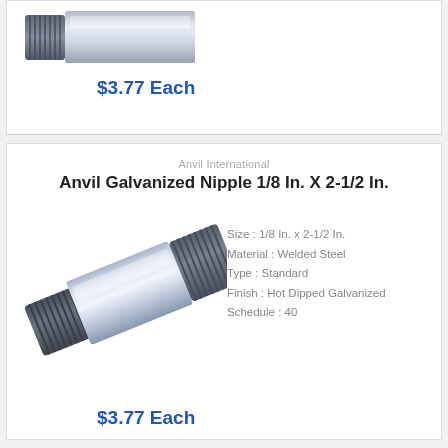[Figure (photo): Galvanized pipe nipple, partially visible at top of page, cut off]
$3.77 Each
Anvil International
Anvil Galvanized Nipple 1/8 In. X 2-1/2 In.
[Figure (photo): Galvanized steel pipe nipple with threaded ends, shown at an angle]
Size : 1/8 In. x 2-1/2 In.
Material : Welded Steel
Type : Standard
Finish : Hot Dipped Galvanized
Schedule : 40
$3.77 Each